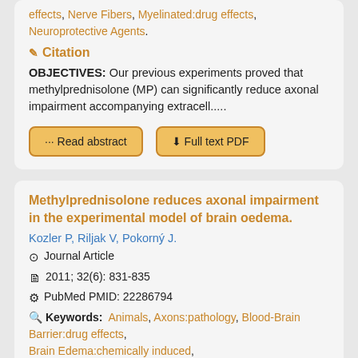effects, Nerve Fibers, Myelinated:drug effects, Neuroprotective Agents.
Citation
OBJECTIVES: Our previous experiments proved that methylprednisolone (MP) can significantly reduce axonal impairment accompanying extracell.....
Read abstract | Full text PDF
Methylprednisolone reduces axonal impairment in the experimental model of brain oedema.
Kozler P, Riljak V, Pokorný J.
Journal Article
2011; 32(6): 831-835
PubMed PMID: 22286794
Keywords: Animals, Axons:pathology, Blood-Brain Barrier:drug effects, Brain Edema:chemically induced, Female, Male, Mannitol:pharmacology, Methylprednisolone:pharmacology, Myelin...